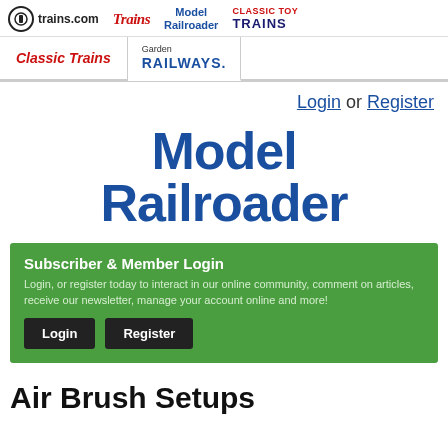[Figure (logo): trains.com navigation header with logos for Trains, Model Railroader, Classic Toy Trains, Classic Trains, and Garden Railways]
Login or Register
Model Railroader
Subscriber & Member Login
Login, or register today to interact in our online community, comment on articles, receive our newsletter, manage your account online and more!
Login   Register
Air Brush Setups